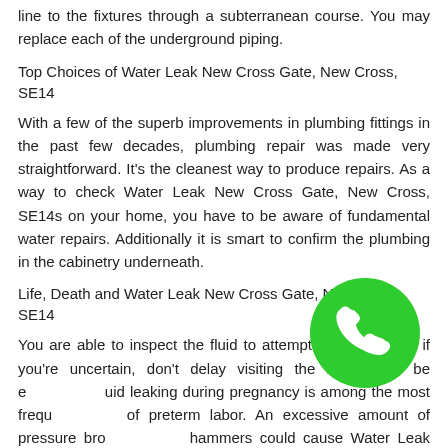To begin with, it is less important to install piping from the principal line to the fixtures through a subterranean course. You may replace each of the underground piping.
Top Choices of Water Leak New Cross Gate, New Cross, SE14
With a few of the superb improvements in plumbing fittings in the past few decades, plumbing repair was made very straightforward. It's the cleanest way to produce repairs. As a way to check Water Leak New Cross Gate, New Cross, SE14s on your home, you have to be aware of fundamental water repairs. Additionally it is smart to confirm the plumbing in the cabinetry underneath.
Life, Death and Water Leak New Cross Gate, New Cross, SE14
You are able to inspect the fluid to attempt to confirm, but if you're uncertain, don't delay visiting the hospital to be examined. Fluid leaking during pregnancy is among the most frequent signs of preterm labor. An excessive amount of pressure brought on by hammers could cause Water Leak New Cross Gate, New Cross,
[Figure (other): Green circular phone/call button badge with white phone handset icon]